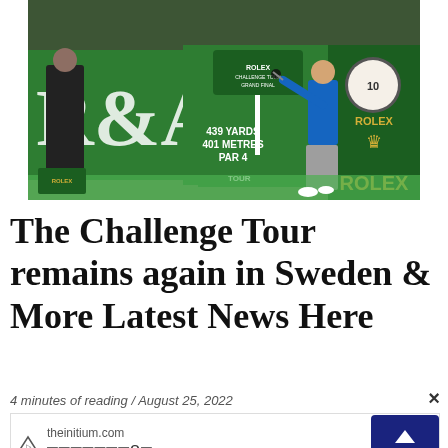[Figure (photo): A golfer in a blue shirt and grey trousers swinging at a tee box. Green signage in the background shows '439 YARDS / 401 METRES / PAR 4' and Rolex branding with the number 10. A spectator in black stands behind barriers.]
The Challenge Tour remains again in Sweden & More Latest News Here
4 minutes of reading / August 25, 2022
[Figure (infographic): Advertisement bar showing theinitium.com with placeholder box characters and a dark blue scroll-to-top button with up arrow icon.]